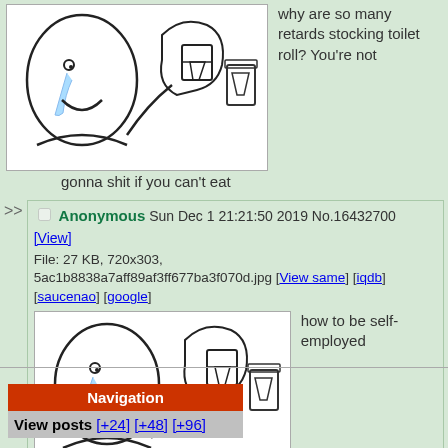[Figure (illustration): Crying Wojak meme illustration showing a crying figure and a hand holding a toilet paper roll]
why are so many retards stocking toilet roll? You're not gonna shit if you can't eat
>> Anonymous Sun Dec 1 21:21:50 2019 No.16432700 [View]
File: 27 KB, 720x303, 5ac1b8838a7aff89af3ff677ba3f070d.jpg [View same] [iqdb] [saucenao] [google]
[Figure (illustration): Crying Wojak meme illustration showing a crying figure and a hand holding toilet paper]
how to be self-employed
Navigation
View posts [+24] [+48] [+96]